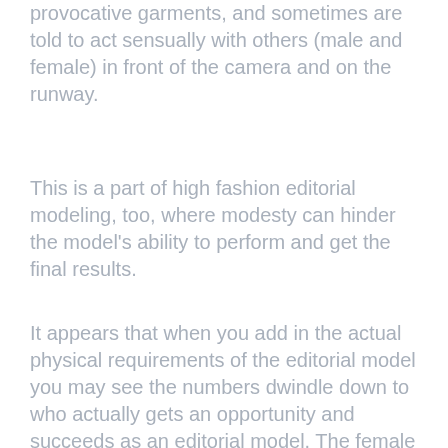provocative garments, and sometimes are told to act sensually with others (male and female) in front of the camera and on the runway.
This is a part of high fashion editorial modeling, too, where modesty can hinder the model's ability to perform and get the final results.
It appears that when you add in the actual physical requirements of the editorial model you may see the numbers dwindle down to who actually gets an opportunity and succeeds as an editorial model. The female editorial model is anywhere in her teenage years aged 14-19 (on average) and is very, very thin (size 0-2...maybe size 4, depending on trend) and is very tall (5'8"-6'0"). Sh...